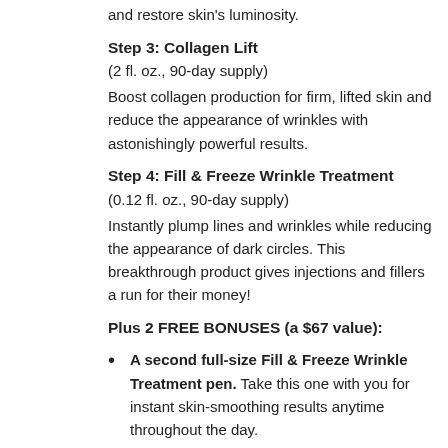and restore skin's luminosity.
Step 3: Collagen Lift
(2 fl. oz., 90-day supply)
Boost collagen production for firm, lifted skin and reduce the appearance of wrinkles with astonishingly powerful results.
Step 4: Fill & Freeze Wrinkle Treatment
(0.12 fl. oz., 90-day supply)
Instantly plump lines and wrinkles while reducing the appearance of dark circles. This breakthrough product gives injections and fillers a run for their money!
Plus 2 FREE BONUSES (a $67 value):
A second full-size Fill & Freeze Wrinkle Treatment pen. Take this one with you for instant skin-smoothing results anytime throughout the day.
A signature Derm Exclusive Travel Bag. Perfect